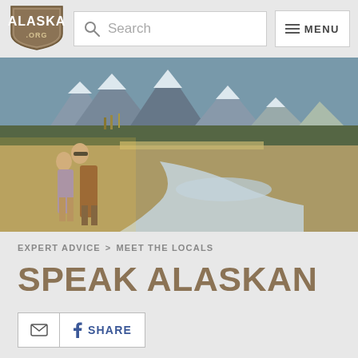[Figure (logo): Alaska.org logo — shield/badge shape with 'ALASKA' text and '.ORG' below]
[Figure (screenshot): Search bar with magnifying glass icon and placeholder text 'Search']
[Figure (screenshot): Menu button with hamburger lines icon and 'MENU' text]
[Figure (photo): Two people standing by a braided river with snow-capped mountains in the background, autumn foliage, wide landscape shot]
EXPERT ADVICE > MEET THE LOCALS
SPEAK ALASKAN
[Figure (screenshot): Social share bar with email icon button and Facebook 'f SHARE' button]